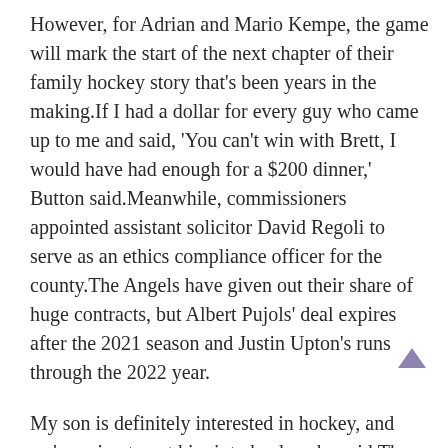However, for Adrian and Mario Kempe, the game will mark the start of the next chapter of their family hockey story that's been years in the making.If I had a dollar for every guy who came up to me and said, 'You can't win with Brett, I would have had enough for a $200 dinner,' Button said.Meanwhile, commissioners appointed assistant solicitor David Regoli to serve as an ethics compliance officer for the county.The Angels have given out their share of huge contracts, but Albert Pujols' deal expires after the 2021 season and Justin Upton's runs through the 2022 year.
My son is definitely interested in hockey, and we're going to get him into hockey, he said.Those guys who are being honored don't deserve to be subjected to this garbage.He also won team gold at the London 2012 Games.